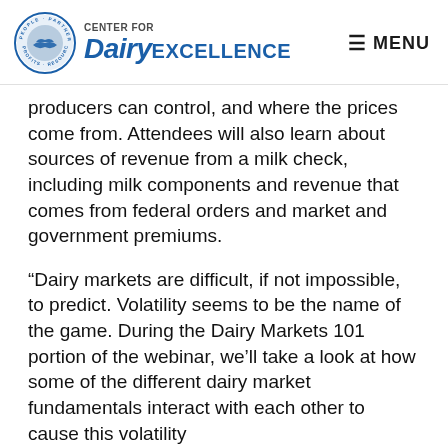Center for Dairy Excellence — MENU
producers can control, and where the prices come from. Attendees will also learn about sources of revenue from a milk check, including milk components and revenue that comes from federal orders and market and government premiums.
“Dairy markets are difficult, if not impossible, to predict. Volatility seems to be the name of the game. During the Dairy Markets 101 portion of the webinar, we’ll take a look at how some of the different dairy market fundamentals interact with each other to cause this volatility